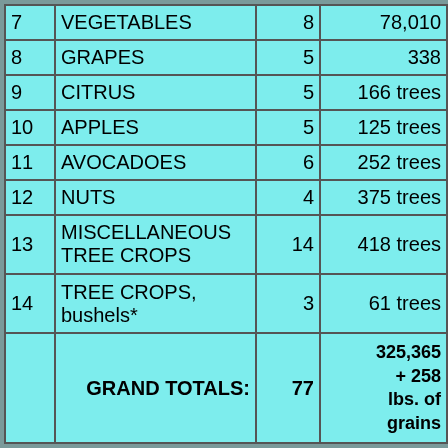| # | Category | Count | Value |
| --- | --- | --- | --- |
| 7 | VEGETABLES | 8 | 78,010 |
| 8 | GRAPES | 5 | 338 |
| 9 | CITRUS | 5 | 166 trees |
| 10 | APPLES | 5 | 125 trees |
| 11 | AVOCADOES | 6 | 252 trees |
| 12 | NUTS | 4 | 375 trees |
| 13 | MISCELLANEOUS TREE CROPS | 14 | 418 trees |
| 14 | TREE CROPS, bushels* | 3 | 61 trees |
|  | GRAND TOTALS: | 77 | 325,365 + 258 lbs. of grains |